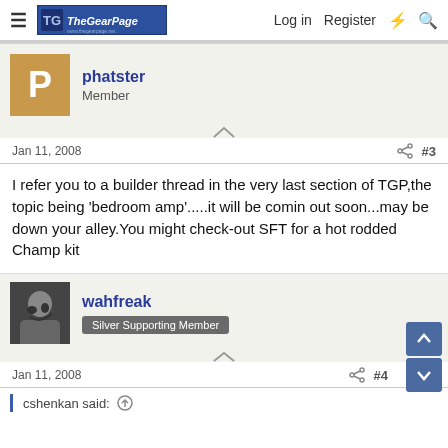The Gear Page — Log in  Register
phatster
Member
Jan 11, 2008   #3
I refer you to a builder thread in the very last section of TGP,the topic being 'bedroom amp'.....it will be comin out soon...may be down your alley.You might check-out SFT for a hot rodded Champ kit
wahfreak
Silver Supporting Member
Jan 11, 2008   #4
cshenkan said: